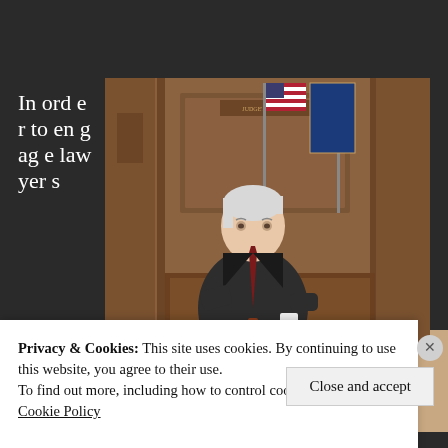In order to engage lawyers
[Figure (photo): A silver-haired man in a dark suit sitting in a courtroom with American flag and blue state flag behind him, wood-paneled walls and judicial bench in background]
Privacy & Cookies: This site uses cookies. By continuing to use this website, you agree to their use.
To find out more, including how to control cookies, see here:
Cookie Policy
Close and accept